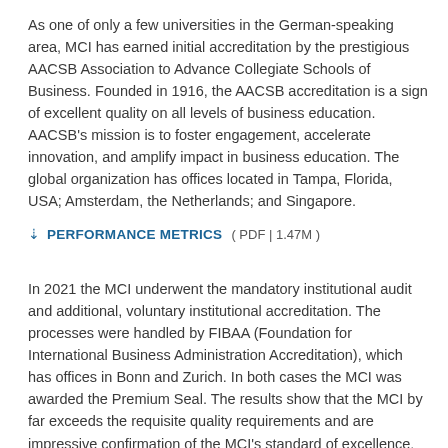As one of only a few universities in the German-speaking area, MCI has earned initial accreditation by the prestigious AACSB Association to Advance Collegiate Schools of Business. Founded in 1916, the AACSB accreditation is a sign of excellent quality on all levels of business education. AACSB's mission is to foster engagement, accelerate innovation, and amplify impact in business education. The global organization has offices located in Tampa, Florida, USA; Amsterdam, the Netherlands; and Singapore.
⬇ PERFORMANCE METRICS ( PDF | 1.47M )
In 2021 the MCI underwent the mandatory institutional audit and additional, voluntary institutional accreditation. The processes were handled by FIBAA (Foundation for International Business Administration Accreditation), which has offices in Bonn and Zurich. In both cases the MCI was awarded the Premium Seal. The results show that the MCI by far exceeds the requisite quality requirements and are impressive confirmation of the MCI's standard of excellence.